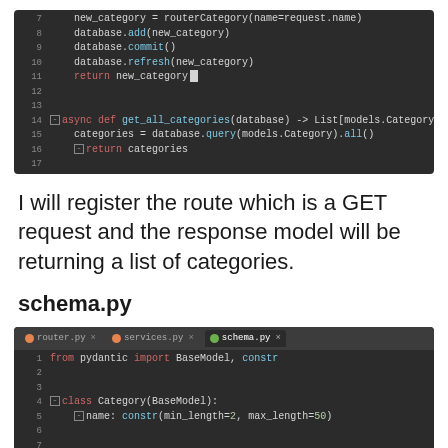[Figure (screenshot): Code editor screenshot showing Python code lines 7-17: database.add, database.commit, database.refresh, return new_category, and async def get_all_categories function returning categories]
I will register the route which is a GET request and the response model will be returning a list of categories.
schema.py
[Figure (screenshot): Code editor screenshot showing schema.py with tabs router.py, services.py, schema.py. Lines 1-9: from pydantic import BaseModel, constr; class Category(BaseModel): name: constr(min_length=2, max_length=50); class ListCategory(BaseModel): id: int]